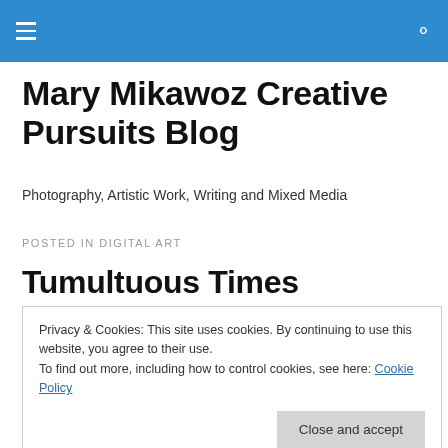Mary Mikawoz Creative Pursuits Blog
Mary Mikawoz Creative Pursuits Blog
Photography, Artistic Work, Writing and Mixed Media
POSTED IN DIGITAL ART
Tumultuous Times
Privacy & Cookies: This site uses cookies. By continuing to use this website, you agree to their use.
To find out more, including how to control cookies, see here: Cookie Policy
[Figure (photo): Colorful abstract digital art image with red, blue, and light colored shapes at bottom of page]